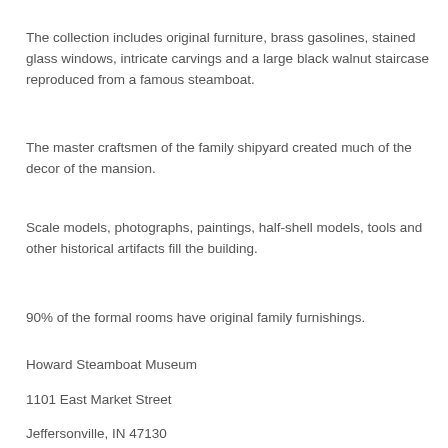The collection includes original furniture, brass gasolines, stained glass windows, intricate carvings and a large black walnut staircase reproduced from a famous steamboat.
The master craftsmen of the family shipyard created much of the decor of the mansion.
Scale models, photographs, paintings, half-shell models, tools and other historical artifacts fill the building.
90% of the formal rooms have original family furnishings.
Howard Steamboat Museum
1101 East Market Street
Jeffersonville, IN 47130